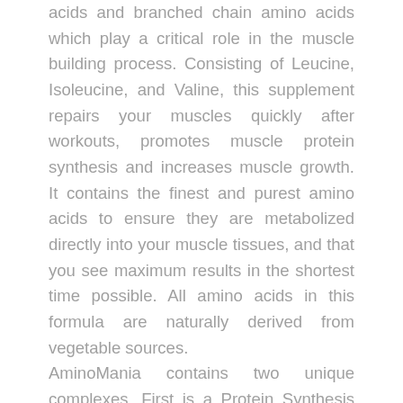acids and branched chain amino acids which play a critical role in the muscle building process. Consisting of Leucine, Isoleucine, and Valine, this supplement repairs your muscles quickly after workouts, promotes muscle protein synthesis and increases muscle growth. It contains the finest and purest amino acids to ensure they are metabolized directly into your muscle tissues, and that you see maximum results in the shortest time possible. All amino acids in this formula are naturally derived from vegetable sources. AminoMania contains two unique complexes. First is a Protein Synthesis Complex, with L-Leucine, L-Lysine, and L-Aspartic Acid as its key ingredients. L-Leucine is the only dietary amino acid that has the power to stimulate muscle protein synthesis, and help slow muscle degradation. L-Lysine helps promote calcium absorption, aids in muscle recovery, and may even promote growth hormone release. Lastly, L-Aspartic Acid is a non-essential amino acid used by your body